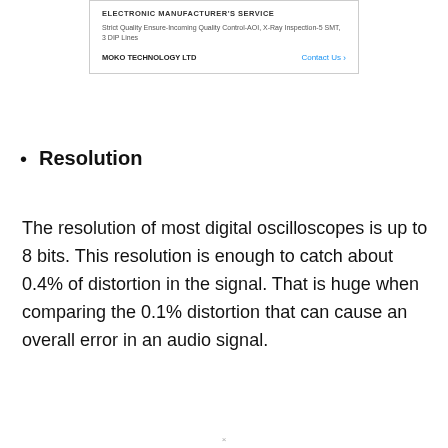[Figure (other): Advertisement box for MOKO TECHNOLOGY LTD showing electronic manufacturing service description with contact link]
Resolution
The resolution of most digital oscilloscopes is up to 8 bits. This resolution is enough to catch about 0.4% of distortion in the signal. That is huge when comparing the 0.1% distortion that can cause an overall error in an audio signal.
×